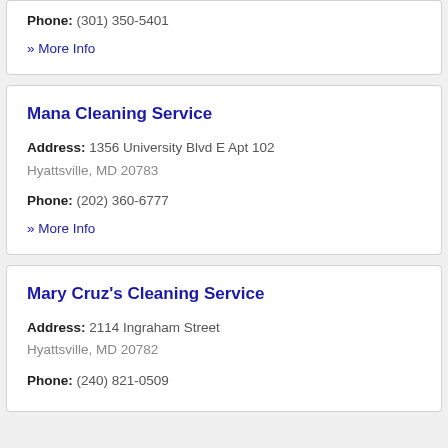Phone: (301) 350-5401
» More Info
Mana Cleaning Service
Address: 1356 University Blvd E Apt 102 Hyattsville, MD 20783
Phone: (202) 360-6777
» More Info
Mary Cruz's Cleaning Service
Address: 2114 Ingraham Street Hyattsville, MD 20782
Phone: (240) 821-0509